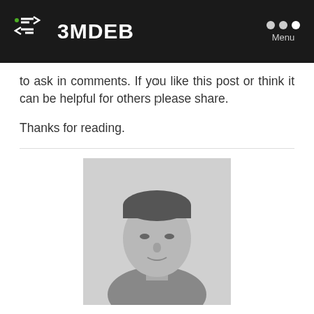3MDEB
to ask in comments. If you like this post or think it can be helpful for others please share.
Thanks for reading.
[Figure (photo): Black and white headshot photo of Piotr Król, a man with short dark hair wearing a collared shirt.]
Piotr Król
Founder and Embedded Systems Consultant at 3mdeb as well as freelance CTO of Vitro Technology and